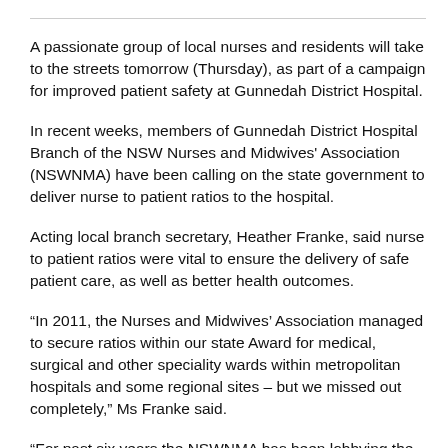A passionate group of local nurses and residents will take to the streets tomorrow (Thursday), as part of a campaign for improved patient safety at Gunnedah District Hospital.
In recent weeks, members of Gunnedah District Hospital Branch of the NSW Nurses and Midwives' Association (NSWNMA) have been calling on the state government to deliver nurse to patient ratios to the hospital.
Acting local branch secretary, Heather Franke, said nurse to patient ratios were vital to ensure the delivery of safe patient care, as well as better health outcomes.
“In 2011, the Nurses and Midwives’ Association managed to secure ratios within our state Award for medical, surgical and other speciality wards within metropolitan hospitals and some regional sites – but we missed out completely,” Ms Franke said.
“For past six years the NSWNMA has been lobbying the Ministry of Health to classify Gunnedah District Hospital in order to